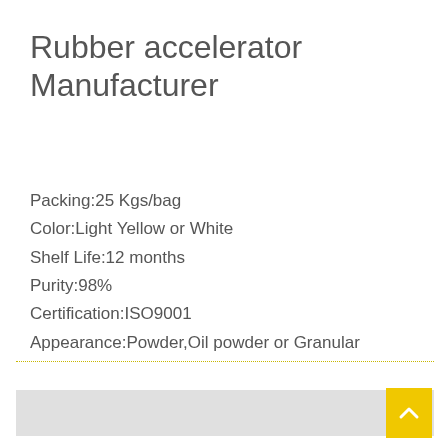Rubber accelerator Manufacturer
Packing:25 Kgs/bag
Color:Light Yellow or White
Shelf Life:12 months
Purity:98%
Certification:ISO9001
Appearance:Powder,Oil powder or Granular